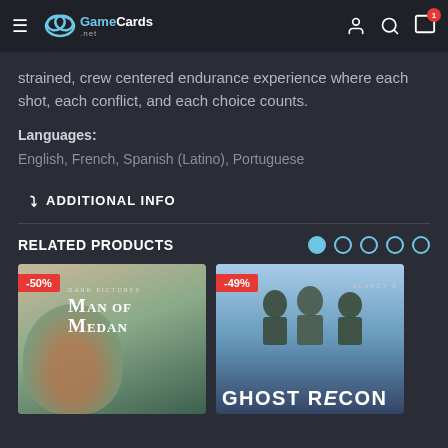GameCards.net
strained, crew centered endurance experience where each shot, each conflict, and each choice counts.
Languages:
English, French, Spanish (Latino), Portuguese
ADDITIONAL INFO
RELATED PRODUCTS
[Figure (photo): Man of Medan game cover with -50% discount badge]
[Figure (photo): Tom Clancy's Ghost Recon game cover with -49% discount badge]